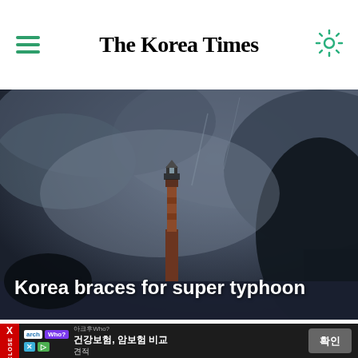The Korea Times
[Figure (photo): Moody stormy sky with a lighthouse silhouetted in the center, dark clouds swirling overhead with text overlay reading 'Korea braces for super typhoon']
Korea braces for super typhoon
[Figure (photo): Close-up of two eyes with dark eye makeup against a dark background]
광고 텍스트: 아크후, 건강보험, 암보험 비교 견적